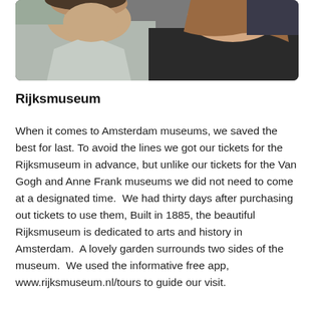[Figure (photo): A close-up selfie photo of two people, a man in a light grey shirt on the left and a woman with brown hair in a black top on the right, taken indoors.]
Rijksmuseum
When it comes to Amsterdam museums, we saved the best for last. To avoid the lines we got our tickets for the Rijksmuseum in advance, but unlike our tickets for the Van Gogh and Anne Frank museums we did not need to come at a designated time.  We had thirty days after purchasing out tickets to use them, Built in 1885, the beautiful Rijksmuseum is dedicated to arts and history in Amsterdam.  A lovely garden surrounds two sides of the museum.  We used the informative free app, www.rijksmuseum.nl/tours to guide our visit.